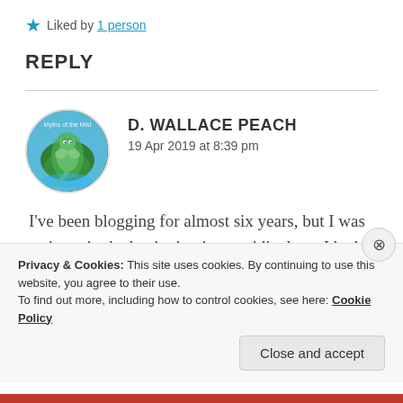★ Liked by 1 person
REPLY
D. WALLACE PEACH
19 Apr 2019 at 8:39 pm
I've been blogging for almost six years, but I was so inept in the beginning it was ridiculous. I had about 7 likes and 0
Privacy & Cookies: This site uses cookies. By continuing to use this website, you agree to their use.
To find out more, including how to control cookies, see here: Cookie Policy
Close and accept